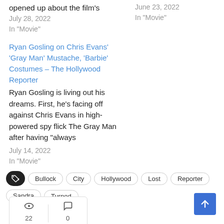opened up about the film's
July 28, 2022
In "Movie"
June 23, 2022
In "Movie"
Ryan Gosling on Chris Evans' 'Gray Man' Mustache, 'Barbie' Costumes – The Hollywood Reporter
Ryan Gosling is living out his dreams. First, he's facing off against Chris Evans in high-powered spy flick The Gray Man after having "always
July 14, 2022
In "Movie"
Bullock
City
Hollywood
Lost
Reporter
Sandra
Turned